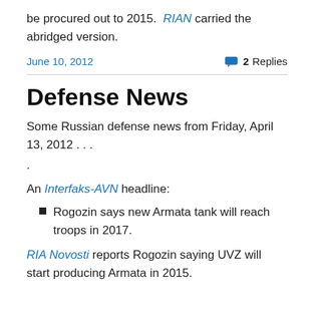be procured out to 2015.  RIAN carried the abridged version.
June 10, 2012   💬 2 Replies
Defense News
Some Russian defense news from Friday, April 13, 2012 . . . .
An Interfaks-AVN headline:
Rogozin says new Armata tank will reach troops in 2017.
RIA Novosti reports Rogozin saying UVZ will start producing Armata in 2015.